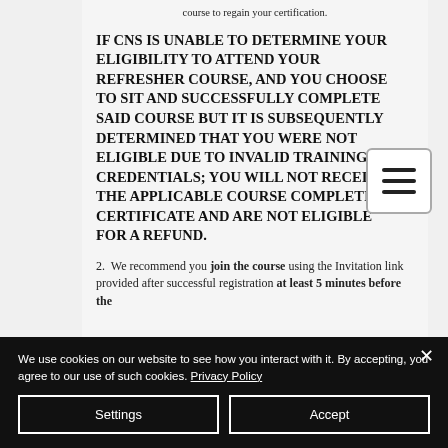course to regain your certification.
IF CNS IS UNABLE TO DETERMINE YOUR ELIGIBILITY TO ATTEND YOUR REFRESHER COURSE, AND YOU CHOOSE TO SIT AND SUCCESSFULLY COMPLETE SAID COURSE BUT IT IS SUBSEQUENTLY DETERMINED THAT YOU WERE NOT ELIGIBLE DUE TO INVALID TRAINING CREDENTIALS; YOU WILL NOT RECEIVE THE APPLICABLE COURSE COMPLETION CERTIFICATE AND ARE NOT ELIGIBLE FOR A REFUND.
2.  We recommend you join the course using the Invitation link provided after successful registration at least 5 minutes before the
We use cookies on our website to see how you interact with it. By accepting, you agree to our use of such cookies. Privacy Policy
Settings
Accept